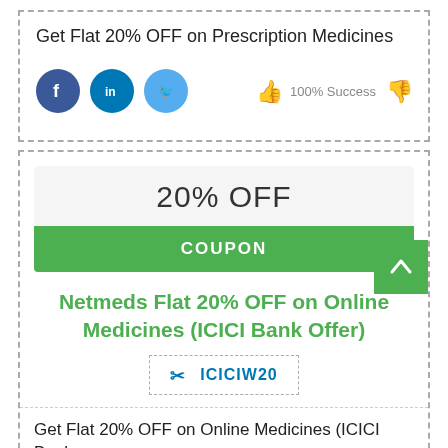Get Flat 20% OFF on Prescription Medicines
[Figure (infographic): Social media icons: Facebook, LinkedIn, Twitter; rating area with green thumbs up, '100% Success' text, red thumbs down]
20% OFF
COUPON
Netmeds Flat 20% OFF on Online Medicines (ICICI Bank Offer)
ICICIW20
Get Flat 20% OFF on Online Medicines (ICICI Bank Offer)